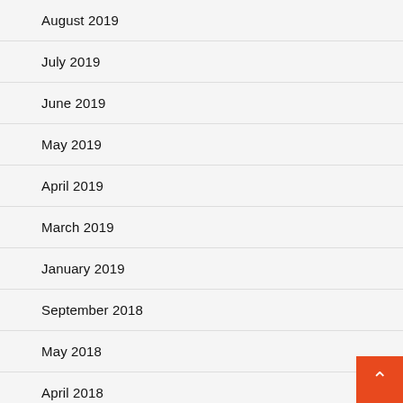August 2019
July 2019
June 2019
May 2019
April 2019
March 2019
January 2019
September 2018
May 2018
April 2018